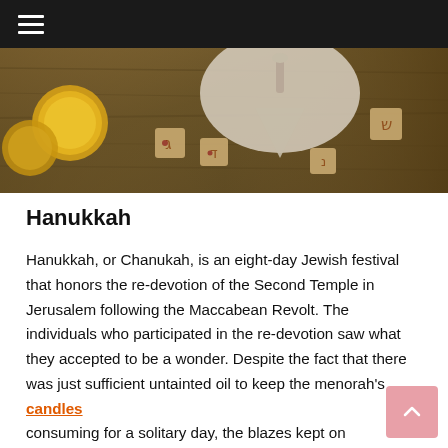[Figure (photo): Photograph of Hanukkah dreidels and decorations on a wooden surface, with a black navigation bar at the top containing a hamburger menu icon.]
Hanukkah
Hanukkah, or Chanukah, is an eight-day Jewish festival that honors the re-devotion of the Second Temple in Jerusalem following the Maccabean Revolt. The individuals who participated in the re-devotion saw what they accepted to be a wonder. Despite the fact that there was just sufficient untainted oil to keep the menorah's candles consuming for a solitary day, the blazes kept on consuming for eight evenings.